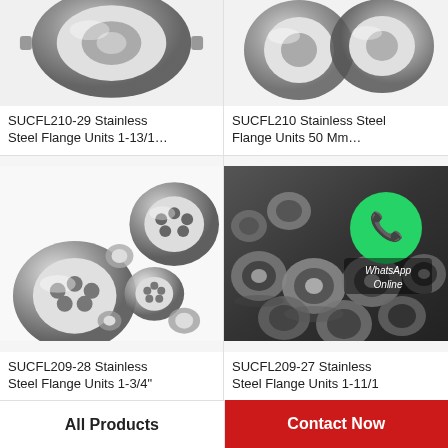[Figure (photo): Stainless steel flange bearing unit SUCFL210-29, close-up product photo showing metallic ring bearing]
[Figure (photo): Stainless steel flange bearing unit SUCFL210, product photo showing two round bearings]
SUCFL210-29 Stainless Steel Flange Units 1-13/1…
SUCFL210 Stainless Steel Flange Units 50 Mm…
[Figure (photo): Multiple stainless steel self-aligning ball bearings scattered on white background]
[Figure (photo): Multiple small stainless steel bearings on dark background with WhatsApp Online overlay]
SUCFL209-28 Stainless Steel Flange Units 1-3/4"
SUCFL209-27 Stainless Steel Flange Units 1-11/1
All Products
Contact Now